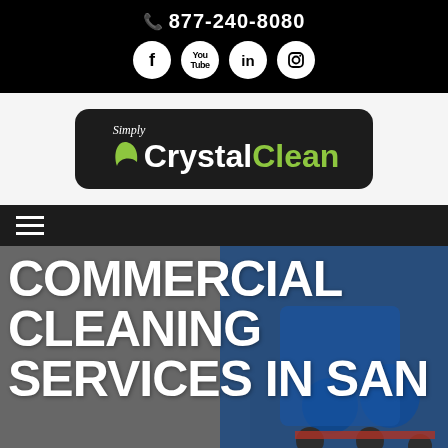877-240-8080
[Figure (logo): Simply CrystalClean logo on black rounded rectangle background]
[Figure (infographic): Hamburger menu icon (three horizontal white lines) on dark nav bar]
COMMERCIAL CLEANING SERVICES IN SAN